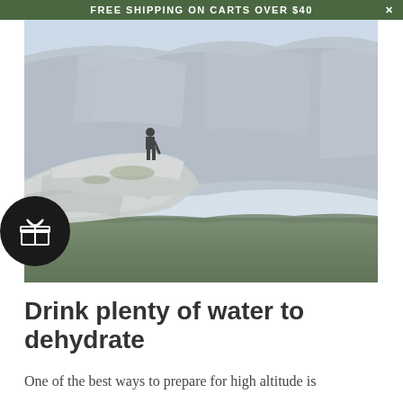FREE SHIPPING ON CARTS OVER $40
[Figure (photo): A person standing on the edge of a rocky cliff overlook in what appears to be Yosemite National Park, with dramatic granite valley walls and forested valley floor visible in the background under a hazy sky.]
Drink plenty of water to dehydrate
One of the best ways to prepare for high altitude is